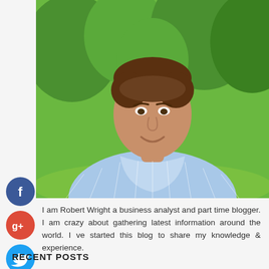[Figure (photo): Portrait photo of Robert Wright, a middle-aged man with short dark hair, smiling, wearing a light blue striped button-down shirt, standing outdoors with green trees and grass in the background.]
[Figure (logo): Facebook social media circular icon (blue)]
[Figure (logo): Google+ social media circular icon (red)]
[Figure (logo): Twitter social media circular icon (blue)]
[Figure (logo): Add/Plus social media circular icon (dark/black)]
I am Robert Wright a business analyst and part time blogger. I am crazy about gathering latest information around the world. I ve started this blog to share my knowledge & experience.
RECENT POSTS